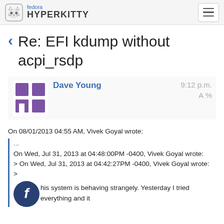fedora HYPERKITTY
Re: EFI kdump without acpi_rsdp
Dave Young — 9:12 p.m.
On 08/01/2013 04:55 AM, Vivek Goyal wrote:
...
On Wed, Jul 31, 2013 at 04:48:00PM -0400, Vivek Goyal wrote:
> On Wed, Jul 31, 2013 at 04:42:27PM -0400, Vivek Goyal wrote:
>
his system is behaving strangely. Yesterday I tried everything and it